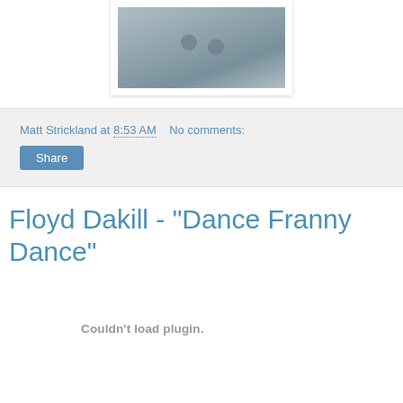[Figure (photo): Close-up photo of a light blue-grey textured fabric or shirt, shown from mid-page top]
Matt Strickland at 8:53 AM   No comments:
Share
Floyd Dakill - "Dance Franny Dance"
Couldn't load plugin.